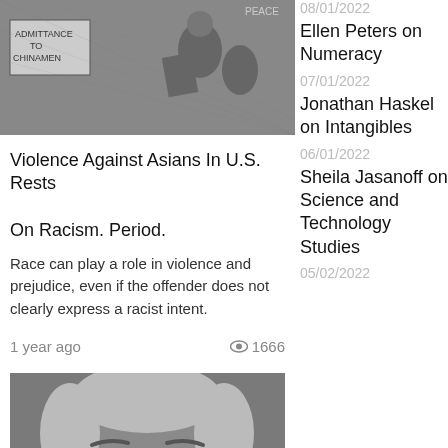[Figure (illustration): Historical black and white illustration showing a figure near a sign reading 'ADMITTANCE TO CHINAMEN']
Violence Against Asians In U.S. Rests

On Racism. Period.
Race can play a role in violence and prejudice, even if the offender does not clearly express a racist intent.
1 year ago   👁 1666
[Figure (photo): Close-up photograph of an elderly man's face with grey hair]
08/01/2022
Ellen Peters on Numeracy
07/01/2022
Jonathan Haskel on Intangibles
06/01/2022
Sheila Jasanoff on Science and Technology Studies
05/02/2022